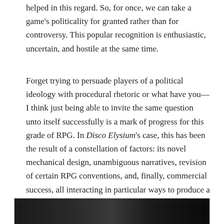helped in this regard. So, for once, we can take a game's politicality for granted rather than for controversy. This popular recognition is enthusiastic, uncertain, and hostile at the same time.
Forget trying to persuade players of a political ideology with procedural rhetoric or what have you—I think just being able to invite the same question unto itself successfully is a mark of progress for this grade of RPG. In Disco Elysium's case, this has been the result of a constellation of factors: its novel mechanical design, unambiguous narratives, revision of certain RPG conventions, and, finally, commercial success, all interacting in particular ways to produce a reception that could discuss and recognise its politics at arm's length as political ideas. Recognition, not persuasion, is the word of the day, fragile and unproven as it is. Disco Elysium is a game worth remembering and recognising on that level, even if, as the NPC Joyce Messier says, its critique eventually becomes subsumed into capitalism itself, if it hasn't already.
[Figure (photo): Dark photograph, partially visible at the bottom of the page, appears to be a scene from Disco Elysium game.]